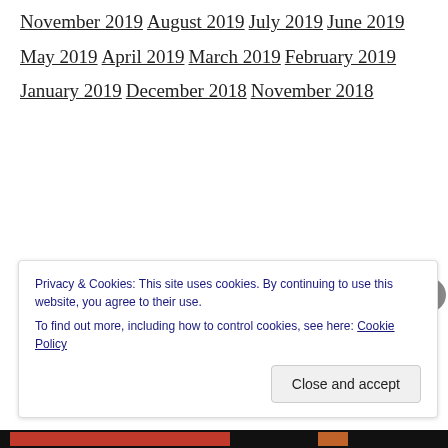November 2019
August 2019
July 2019
June 2019
May 2019
April 2019
March 2019
February 2019
January 2019
December 2018
November 2018
Privacy & Cookies: This site uses cookies. By continuing to use this website, you agree to their use.
To find out more, including how to control cookies, see here: Cookie Policy
Close and accept